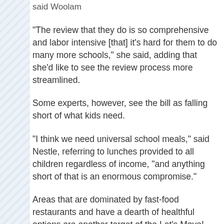said Woolam
“The review that they do is so comprehensive and labor intensive [that] it’s hard for them to do many more schools,” she said, adding that she’d like to see the review process more streamlined.
Some experts, however, see the bill as falling short of what kids need.
“I think we need universal school meals,” said Nestle, referring to lunches provided to all children regardless of income, “and anything short of that is an enormous compromise.”
Areas that are dominated by fast-food restaurants and have a dearth of healthful options are another target of the Let’s Move! campaign.
The program made a significant stride in January,